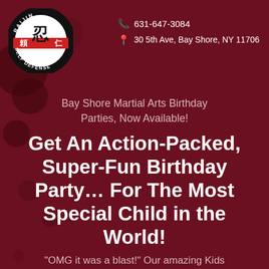[Figure (logo): Raijin Self Defense martial arts logo: circular badge with Japanese characters and 'SELF DEFENSE' text around the border]
631-647-3084
30 5th Ave, Bay Shore, NY 11706
Bay Shore Martial Arts Birthday Parties, Now Available!
Get An Action-Packed, Super-Fun Birthday Party… For The Most Special Child in the World!
"OMG it was a blast!" Our amazing Kids